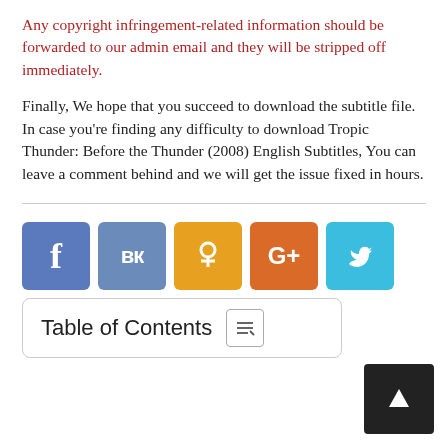Any copyright infringement-related information should be forwarded to our admin email and they will be stripped off immediately.
Finally, We hope that you succeed to download the subtitle file. In case you're finding any difficulty to download Tropic Thunder: Before the Thunder (2008) English Subtitles, You can leave a comment behind and we will get the issue fixed in hours.
[Figure (infographic): Row of five social media share buttons: Facebook (blue), VK (steel blue), Odnoklassniki (amber), Google+ (orange), Twitter (cyan). Below is a Table of Contents widget button with an icon, and a dark arrow navigation button at bottom right.]